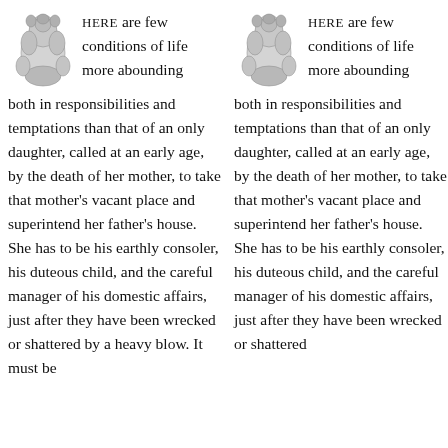HERE are few conditions of life more abounding both in responsibilities and temptations than that of an only daughter, called at an early age, by the death of her mother, to take that mother's vacant place and superintend her father's house. She has to be his earthly consoler, his duteous child, and the careful manager of his domestic affairs, just after they have been wrecked or shattered by a heavy blow. It must be
HERE are few conditions of life more abounding both in responsibilities and temptations than that of an only daughter, called at an early age, by the death of her mother, to take that mother's vacant place and superintend her father's house. She has to be his earthly consoler, his duteous child, and the careful manager of his domestic affairs, just after they have been wrecked or shattered